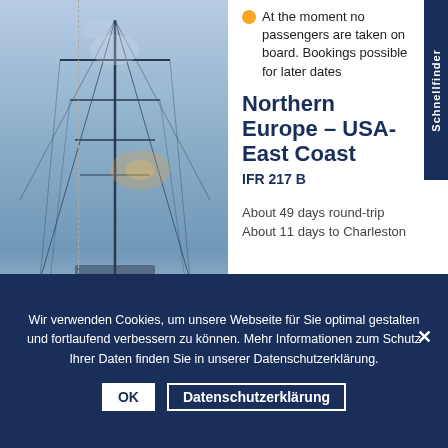[Figure (photo): Ship with mast and rigging in icy/wintry blue-white conditions]
At the moment no passengers are taken on board. Bookings possible for later dates
Northern Europe – USA-East Coast
IFR 217 B
About 49 days round-trip
About 11 days to Charleston
Wir verwenden Cookies, um unsere Webseite für Sie optimal gestalten und fortlaufend verbessern zu können. Mehr Informationen zum Schutz Ihrer Daten finden Sie in unserer Datenschutzerklärung.
OK
Datenschutzerklärung